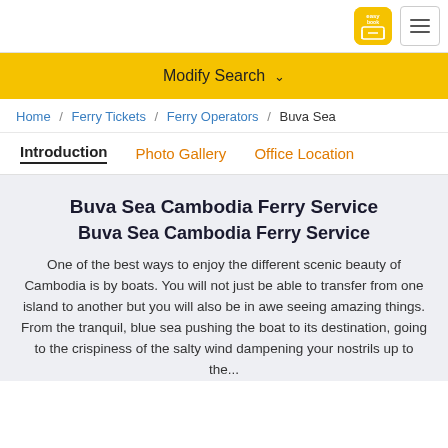easybook logo and hamburger menu
Modify Search ˅
Home / Ferry Tickets / Ferry Operators / Buva Sea
Introduction   Photo Gallery   Office Location
Buva Sea Cambodia Ferry Service
Buva Sea Cambodia Ferry Service
One of the best ways to enjoy the different scenic beauty of Cambodia is by boats. You will not just be able to transfer from one island to another but you will also be in awe seeing amazing things. From the tranquil, blue sea pushing the boat to its destination, going to the crispiness of the salty wind dampening your nostrils up to the...